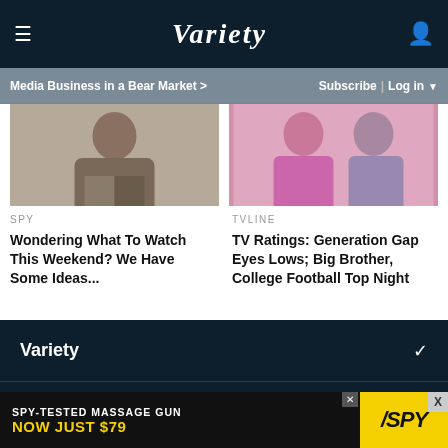VARIETY
Media Business in a Bear Market >
Subscribe | Log in
[Figure (photo): Two article thumbnail images side by side: left shows a person seated in casual clothes, right shows two people in colorful outfits]
SPY
Wondering What To Watch This Weekend? We Have Some Ideas...
TVLINE
TV Ratings: Generation Gap Eyes Lows; Big Brother, College Football Top Night
Variety
Legal
[Figure (screenshot): Advertisement banner: SPY-TESTED MASSAGE GUN NOW JUST $79 with SPY logo on yellow background]